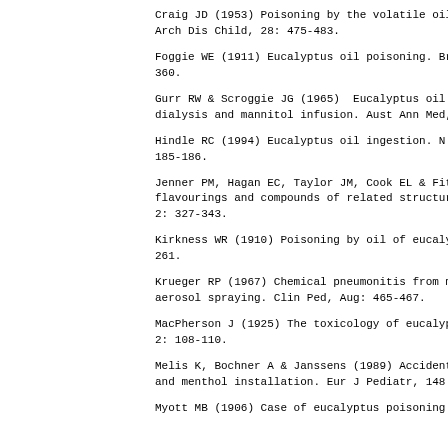Craig JD (1953) Poisoning by the volatile oils in Arch Dis Child, 28: 475-483.
Foggie WE (1911) Eucalyptus oil poisoning. Br Med 360.
Gurr RW & Scroggie JG (1965)  Eucalyptus oil pois dialysis and mannitol infusion. Aust Ann Med, 4:
Hindle RC (1994) Eucalyptus oil ingestion. N Z Me 185-186.
Jenner PM, Hagan EC, Taylor JM, Cook EL & Fitzhug flavourings and compounds of related structure. F 2: 327-343.
Kirkness WR (1910) Poisoning by oil of eucalyptus 261.
Krueger RP (1967) Chemical pneumonitis from medic aerosol spraying. Clin Ped, Aug: 465-467.
MacPherson J (1925) The toxicology of eucalyptus 2: 108-110.
Melis K, Bochner A & Janssens (1989) Accidental m and menthol installation. Eur J Pediatr, 148: 786
Myott MB (1906) Case of eucalyptus poisoning. Br